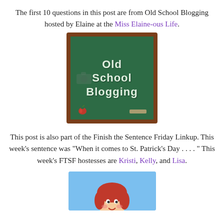The first 10 questions in this post are from Old School Blogging hosted by Elaine at the Miss Elaine-ous Life.
[Figure (illustration): A green chalkboard with brown frame showing the text 'Old School Blogging' written in white chalk font, with a red apple in the bottom left corner and a small eraser in the bottom right corner.]
This post is also part of the Finish the Sentence Friday Linkup. This week's sentence was "When it comes to St. Patrick's Day . . . . " This week's FTSF hostesses are Kristi, Kelly, and Lisa.
[Figure (illustration): A cartoon illustration of a girl with red hair on a light blue background, partially cut off at the bottom of the page.]